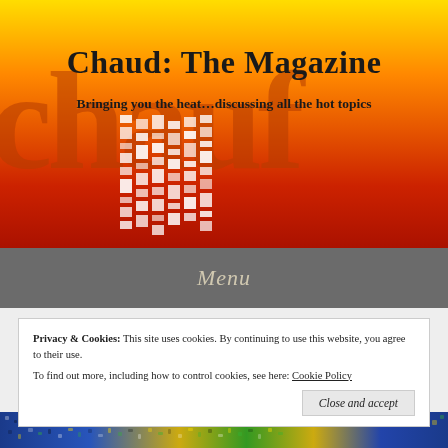[Figure (illustration): Magazine header banner with yellow-to-red gradient background, large semi-transparent watermark letters, and heat shimmer pixel effect in center]
Chaud: The Magazine
Bringing you the heat…discussing all the hot topics
Menu
Privacy & Cookies:  This site uses cookies. By continuing to use this website, you agree to their use.
To find out more, including how to control cookies, see here: Cookie Policy
Close and accept
[Figure (photo): Crowd photograph at bottom of page showing sports fans in blue, yellow and green colors]